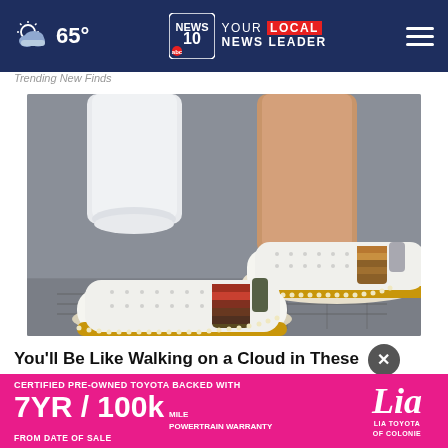65° YOUR LOCAL NEWS LEADER — News 10 ABC
Trending New Finds
[Figure (photo): A person wearing white jeans and two decorative slip-on sneakers with perforated white leather, striped fabric panels, and espadrille-style cork soles on a grey surface.]
You'll Be Like Walking on a Cloud in These Shoes -
Nov
Suns
CERTIFIED PRE-OWNED TOYOTA BACKED WITH 7YR / 100k MILE POWERTRAIN WARRANTY FROM DATE OF SALE — Lia LIA TOYOTA OF COLONIE